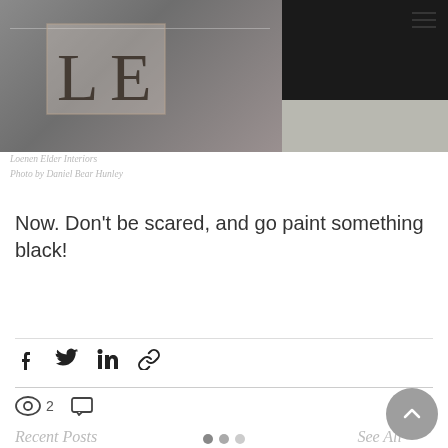[Figure (photo): Interior design photo collage showing a styled room with wicker/rattan furniture, plants, books, and decorative objects. Dark teal/charcoal walls visible. LE logo overlaid on the image.]
Loenen Elder Interiors
Photo by Daniel Bear Hunley
Now. Don't be scared, and go paint something black!
[Figure (infographic): Social share icons: Facebook, Twitter, LinkedIn, Link/chain icon]
2 views, 0 comments, heart/like button
Recent Posts
See All